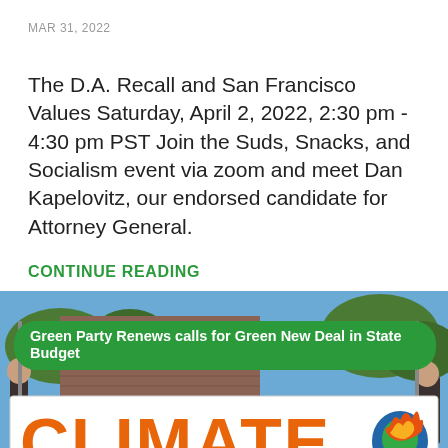MAR 31, 2022
The D.A. Recall and San Francisco Values Saturday, April 2, 2022, 2:30 pm - 4:30 pm PST Join the Suds, Snacks, and Socialism event via zoom and meet Dan Kapelovitz, our endorsed candidate for Attorney General.
CONTINUE READING
[Figure (photo): People holding a large CLIMATE banner outdoors near a brick building, with blue sky and trees in the background. A green pill-shaped overlay badge reads: Green Party Renews calls for Green New Deal in State Budget]